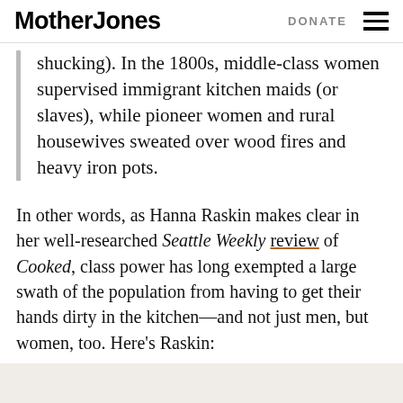Mother Jones   DONATE
shucking). In the 1800s, middle-class women supervised immigrant kitchen maids (or slaves), while pioneer women and rural housewives sweated over wood fires and heavy iron pots.
In other words, as Hanna Raskin makes clear in her well-researched Seattle Weekly review of Cooked, class power has long exempted a large swath of the population from having to get their hands dirty in the kitchen—and not just men, but women, too. Here's Raskin: